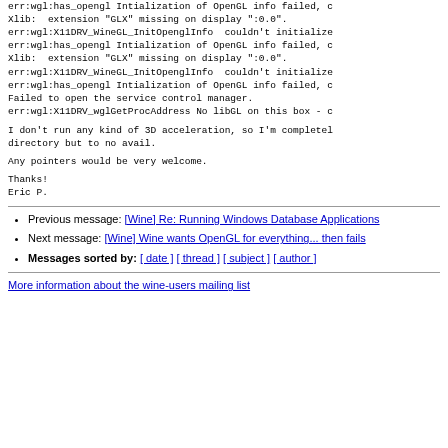err:wgl:has_opengl Intialization of OpenGL info failed, d
Xlib:  extension "GLX" missing on display ":0.0".
err:wgl:X11DRV_WineGL_InitOpenglInfo  couldn't initialize
err:wgl:has_opengl Intialization of OpenGL info failed, c
Xlib:  extension "GLX" missing on display ":0.0".
err:wgl:X11DRV_WineGL_InitOpenglInfo  couldn't initialize
err:wgl:has_opengl Intialization of OpenGL info failed, c
Failed to open the service control manager.
err:wgl:X11DRV_wglGetProcAddress No libGL on this box - c
I don't run any kind of 3D acceleration, so I'm completel
directory but to no avail.
Any pointers would be very welcome.
Thanks!
Eric P.
Previous message: [Wine] Re: Running Windows Database Applications
Next message: [Wine] Wine wants OpenGL for everything... then fails
Messages sorted by: [ date ] [ thread ] [ subject ] [ author ]
More information about the wine-users mailing list